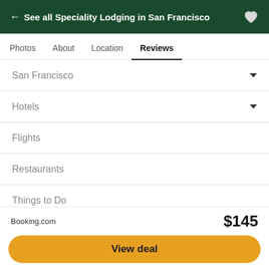← See all Speciality Lodging in San Francisco
Photos
About
Location
Reviews
San Francisco
Hotels
Flights
Restaurants
Things to Do
Forum
Best of 2022
More
Booking.com
$145
View deal